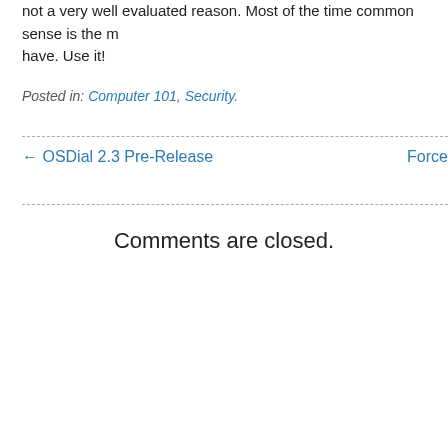not a very well evaluated reason. Most of the time common sense is the most important tool we have. Use it!
Posted in: Computer 101, Security.
← OSDial 2.3 Pre-Release
Force
Comments are closed.